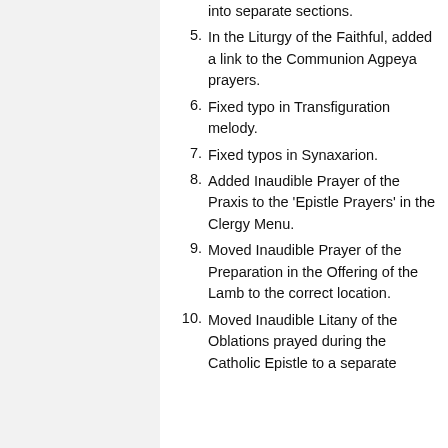introduction and conclusion of each reading into the reading document itself.
4. Broke up Agpeya selected prayers into separate sections.
5. In the Liturgy of the Faithful, added a link to the Communion Agpeya prayers.
6. Fixed typo in Transfiguration melody.
7. Fixed typos in Synaxarion.
8. Added Inaudible Prayer of the Praxis to the 'Epistle Prayers' in the Clergy Menu.
9. Moved Inaudible Prayer of the Preparation in the Offering of the Lamb to the correct location.
10. Moved Inaudible Litany of the Oblations prayed during the Catholic Epistle to a separate